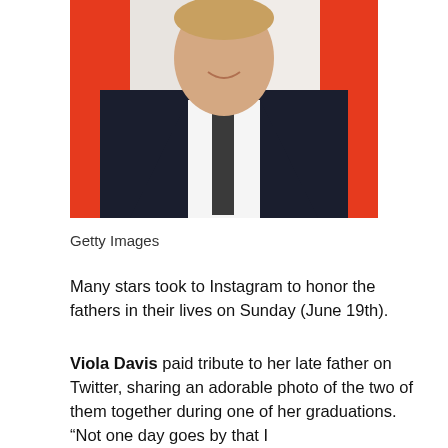[Figure (photo): A man in a dark navy velvet suit and black tie smiling, standing in front of a red and white event backdrop with partial letters visible.]
Getty Images
Many stars took to Instagram to honor the fathers in their lives on Sunday (June 19th).
Viola Davis paid tribute to her late father on Twitter, sharing an adorable photo of the two of them together during one of her graduations. “Not one day goes by that I